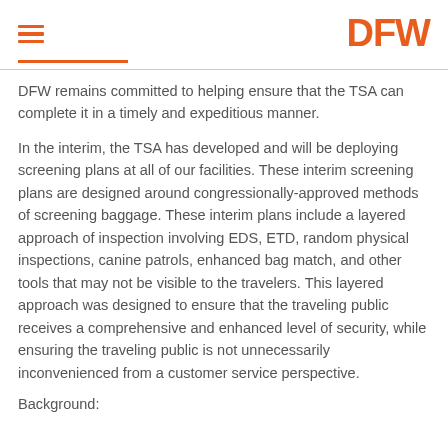DFW
DFW remains committed to helping ensure that the TSA can complete it in a timely and expeditious manner.
In the interim, the TSA has developed and will be deploying screening plans at all of our facilities. These interim screening plans are designed around congressionally-approved methods of screening baggage. These interim plans include a layered approach of inspection involving EDS, ETD, random physical inspections, canine patrols, enhanced bag match, and other tools that may not be visible to the travelers. This layered approach was designed to ensure that the traveling public receives a comprehensive and enhanced level of security, while ensuring the traveling public is not unnecessarily inconvenienced from a customer service perspective.
Background: